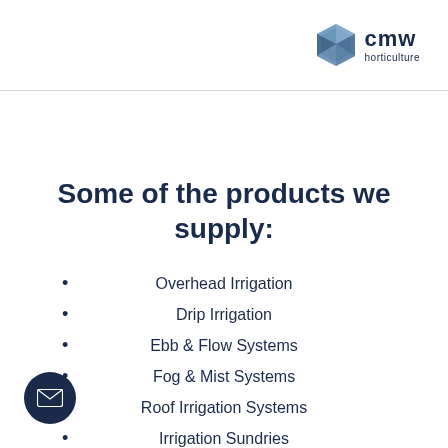cmw horticulture
Some of the products we supply:
Overhead Irrigation
Drip Irrigation
Ebb & Flow Systems
Fog & Mist Systems
Roof Irrigation Systems
Irrigation Sundries
Irrigation System Design